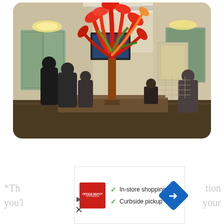[Figure (photo): Hotel or restaurant lobby interior with a large red glass sculpture/chandelier in the center, ornate ceiling, chandeliers, warm lighting, people standing in background.]
[Figure (infographic): Advertisement overlay: Office Depot/OfficeMax logo, checkmarks next to 'In-store shopping' and 'Curbside pickup' text, blue navigation arrow icon on right. Partial footnote text visible on left and right edges.]